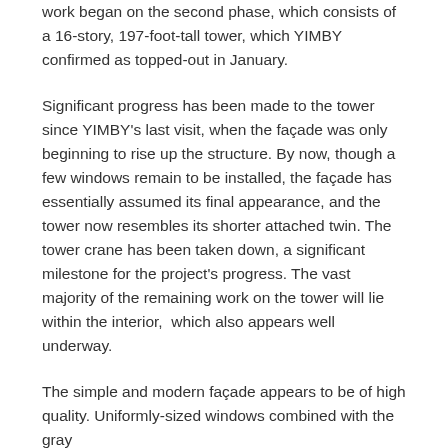work began on the second phase, which consists of a 16-story, 197-foot-tall tower, which YIMBY confirmed as topped-out in January.
Significant progress has been made to the tower since YIMBY's last visit, when the façade was only beginning to rise up the structure. By now, though a few windows remain to be installed, the façade has essentially assumed its final appearance, and the tower now resembles its shorter attached twin. The tower crane has been taken down, a significant milestone for the project's progress. The vast majority of the remaining work on the tower will lie within the interior,  which also appears well underway.
The simple and modern façade appears to be of high quality. Uniformly-sized windows combined with the gray